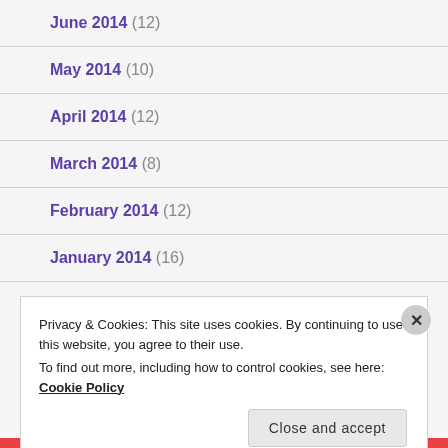June 2014 (12)
May 2014 (10)
April 2014 (12)
March 2014 (8)
February 2014 (12)
January 2014 (16)
Privacy & Cookies: This site uses cookies. By continuing to use this website, you agree to their use. To find out more, including how to control cookies, see here: Cookie Policy
Close and accept